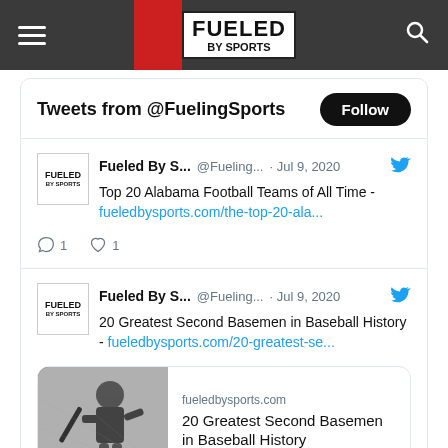[Figure (screenshot): Fueled By Sports website navigation bar with hamburger menu, logo, and search icon]
Tweets from @FuelingSports
Fueled By S... @Fueling... · Jul 9, 2020 — Top 20 Alabama Football Teams of All Time - fueledbysports.com/the-top-20-ala...
Reply: 1, Like: 1
Fueled By S... @Fueling... · Jul 9, 2020 — 20 Greatest Second Basemen in Baseball History - fueledbysports.com/20-greatest-se...
[Figure (photo): Black and white photo of a baseball player batting]
fueledbysports.com — 20 Greatest Second Basemen in Baseball History